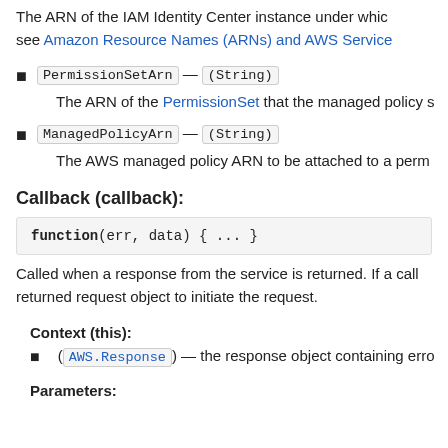The ARN of the IAM Identity Center instance under which see Amazon Resource Names (ARNs) and AWS Service
PermissionSetArn — (String)
The ARN of the PermissionSet that the managed policy
ManagedPolicyArn — (String)
The AWS managed policy ARN to be attached to a perm
Callback (callback):
function(err, data) { ... }
Called when a response from the service is returned. If a call returned request object to initiate the request.
Context (this):
(AWS.Response) — the response object containing erro
Parameters: